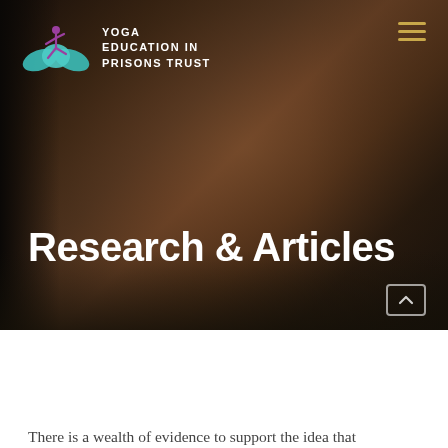[Figure (photo): Hero photograph showing a person from behind in a brown jacket in a room, with another person visible in the background, dark moody lighting. Yoga Education in Prisons Trust website header.]
Research & Articles
There is a wealth of evidence to support the idea that